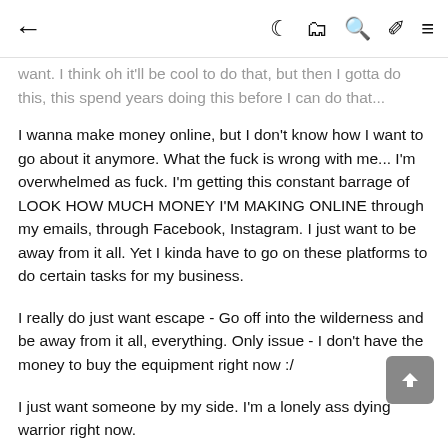← ☾ 📰 🔍 ✏ ≡
want. I think oh it'll be cool to do that, but then I gotta do this, this spend years doing this before I can do that...
I wanna make money online, but I don't know how I want to go about it anymore. What the fuck is wrong with me... I'm overwhelmed as fuck. I'm getting this constant barrage of LOOK HOW MUCH MONEY I'M MAKING ONLINE through my emails, through Facebook, Instagram. I just want to be away from it all. Yet I kinda have to go on these platforms to do certain tasks for my business.
I really do just want escape - Go off into the wilderness and be away from it all, everything. Only issue - I don't have the money to buy the equipment right now :/
I just want someone by my side. I'm a lonely ass dying warrior right now.
I need someone to show me the way. Else I feel like i'm just going to stay stagnant, and become a worthless piece of shit. That's how I feel right now, a worthless piece of shit. A guy who talks about what he's going to do, but never fuck does it piece of shit.